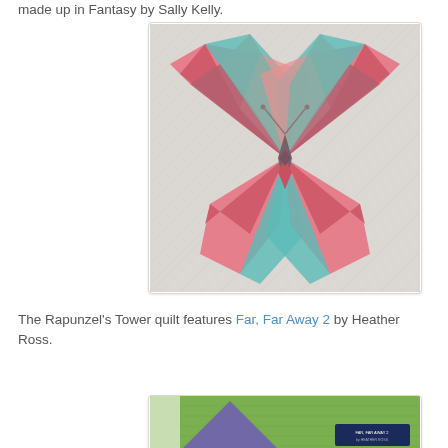made up in Fantasy by Sally Kelly.
[Figure (photo): A butterfly-shaped patchwork quilt with colorful fabric pieces in pink, teal, red, and floral patterns on a white quilted background, photographed from above.]
The Rapunzel's Tower quilt features Far, Far Away 2 by Heather Ross.
[Figure (photo): Partial view of a quilt with green and purple geometric shapes, with a small placard visible in the lower right corner.]